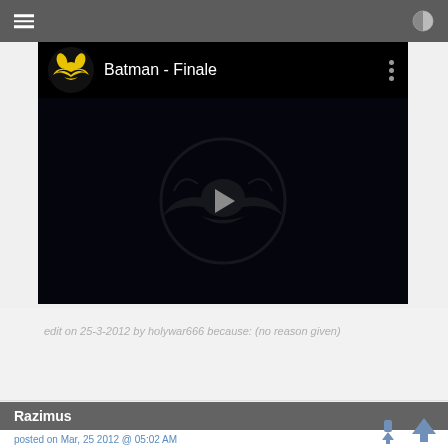[Figure (screenshot): Video player thumbnail showing 'Batman - Finale' with Batman logo, dark video background with batman watermark, play button in center, three-dot menu icon]
edit on 25-3-2012 by holywar666 because: (no reason given)
Razimus
posted on Mar, 25 2012 @ 05:02 AM